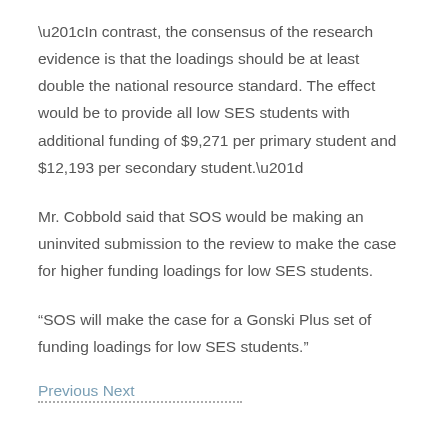“In contrast, the consensus of the research evidence is that the loadings should be at least double the national resource standard. The effect would be to provide all low SES students with additional funding of $9,271 per primary student and $12,193 per secondary student.”
Mr. Cobbold said that SOS would be making an uninvited submission to the review to make the case for higher funding loadings for low SES students.
“SOS will make the case for a Gonski Plus set of funding loadings for low SES students.”
Previous Next